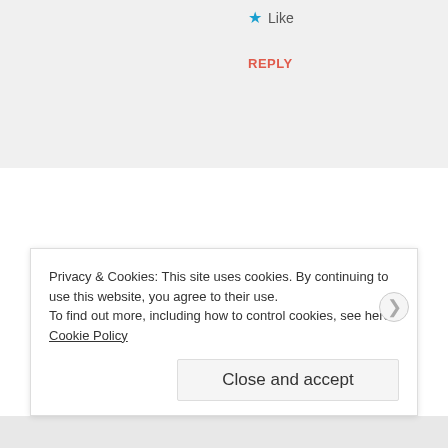★ Like
REPLY
[Figure (photo): Circular avatar photo of a man with mustache wearing an orange shirt]
nashdude says:
FEBRUARY 14, 2015 AT 2:54 AM
~Love, Actually~
Jack leaned back on the steps, soaking in the
Privacy & Cookies: This site uses cookies. By continuing to use this website, you agree to their use.
To find out more, including how to control cookies, see here: Cookie Policy
Close and accept